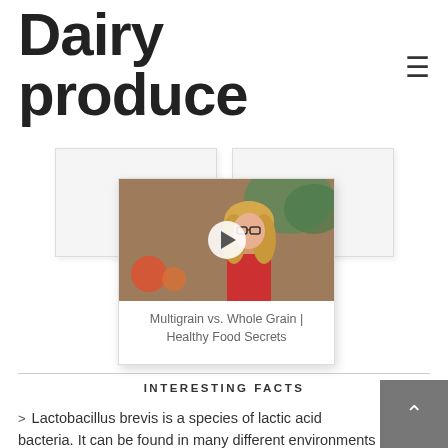Dairy produce
[Figure (screenshot): Video card overlay on two background content cards. The video shows a woman with glasses and blonde hair in a red top against a background with fruits. A play button is visible in the center. The card is titled 'Multigrain vs. Whole Grain | Healthy Food Secrets'.]
Multigrain vs. Whole Grain | Healthy Food Secrets
INTERESTING FACTS
Lactobacillus brevis is a species of lactic acid bacteria. It can be found in many different environments and in fermented foods such as sauerkraut and pickles. It is also one of the most common causes of beer spoilage. Ingestion has